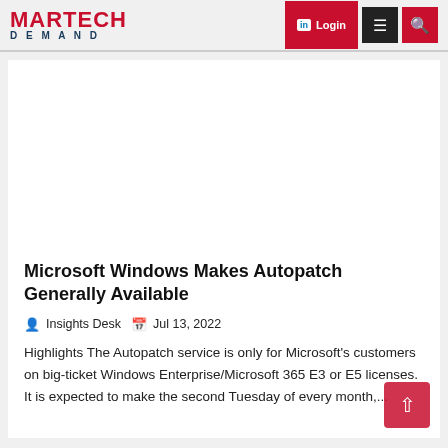MARTECH DEMAND
Microsoft Windows Makes Autopatch Generally Available
Insights Desk  Jul 13, 2022
Highlights The Autopatch service is only for Microsoft's customers on big-ticket Windows Enterprise/Microsoft 365 E3 or E5 licenses. It is expected to make the second Tuesday of every month,...